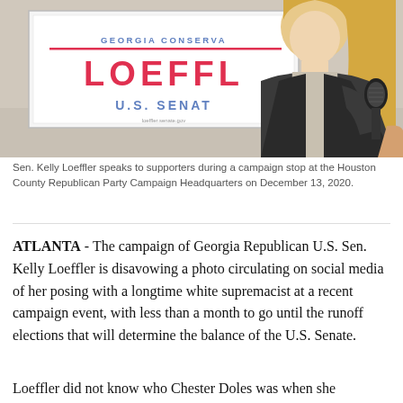[Figure (photo): Sen. Kelly Loeffler speaking at a microphone in front of a campaign sign reading 'Georgia Conservative Loeffler U.S. Senate' at Houston County Republican Party Campaign Headquarters.]
Sen. Kelly Loeffler speaks to supporters during a campaign stop at the Houston County Republican Party Campaign Headquarters on December 13, 2020.
ATLANTA - The campaign of Georgia Republican U.S. Sen. Kelly Loeffler is disavowing a photo circulating on social media of her posing with a longtime white supremacist at a recent campaign event, with less than a month to go until the runoff elections that will determine the balance of the U.S. Senate.
Loeffler did not know who Chester Doles was when she